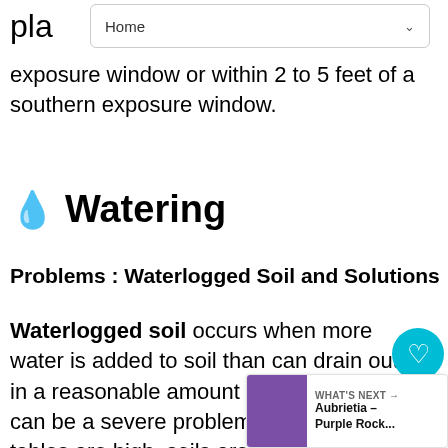Home
pla
exposure window or within 2 to 5 feet of a southern exposure window.
💧 Watering
Problems : Waterlogged Soil and Solutions
Waterlogged soil occurs when more water is added to soil than can drain out in a reasonable amount of time. This can be a severe problem where water tables are high, soils are compacted. Lack of air space in waterlogged soil makes it almost impossible for soil to drain. Few plants, except for bog plants,